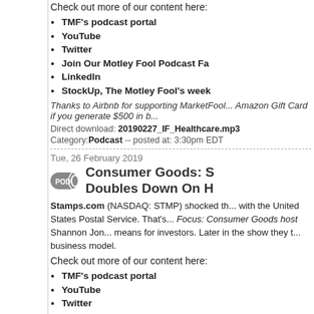Check out more of our content here:
TMF's podcast portal
YouTube
Twitter
Join Our Motley Fool Podcast Fa...
LinkedIn
StockUp, The Motley Fool's week...
Thanks to Airbnb for supporting MarketFool... Amazon Gift Card if you generate $500 in b...
Direct download: 20190227_IF_Healthcare.mp3
Category: Podcast -- posted at: 3:30pm EDT
Tue, 26 February 2019
Consumer Goods: S... Doubles Down On H...
Stamps.com (NASDAQ: STMP) shocked th... with the United States Postal Service. That's... Focus: Consumer Goods host Shannon Jon... means for investors. Later in the show they t... business model.
Check out more of our content here:
TMF's podcast portal
YouTube
Twitter
Join Our Motley Fool Podcast Fa...
LinkedIn
StockUp, The Motley Fool's week...
Direct download: 20190226_IF_ConsumerGoods.m...